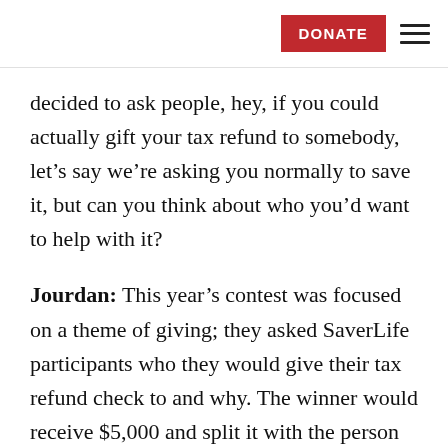DONATE
decided to ask people, hey, if you could actually gift your tax refund to somebody, let’s say we’re asking you normally to save it, but can you think about who you’d want to help with it?
Jourdan: This year’s contest was focused on a theme of giving; they asked SaverLife participants who they would give their tax refund check to and why. The winner would receive $5,000 and split it with the person they nominated in their submission. Around 200 submissions were entered, but the winning submission came from Pittsburgh, from a woman